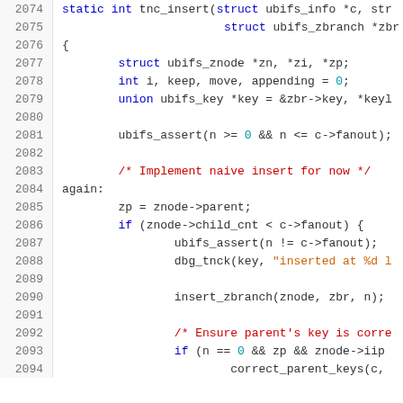Source code listing: tnc_insert function, lines 2074-2094